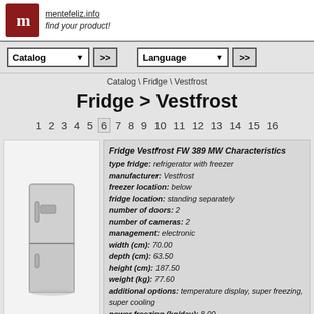mentefeliz.info find your product!
Catalog >> Language >>
Catalog \ Fridge \ Vestfrost
Fridge > Vestfrost
1 2 3 4 5 6 7 8 9 10 11 12 13 14 15 16
[Figure (photo): Photo of a Vestfrost FW 389 MW refrigerator with freezer below, silver/white color, standing upright]
Fridge Vestfrost FW 389 MW Characteristics type fridge: refrigerator with freezer manufacturer: Vestfrost freezer location: below fridge location: standing separately number of doors: 2 number of cameras: 2 management: electronic width (cm): 70.00 depth (cm): 63.50 height (cm): 187.50 weight (kg): 77.60 additional options: temperature display, super freezing, super cooling power freezing (kg/day): 8.00 total volume of the refrigerator (l): 357.00